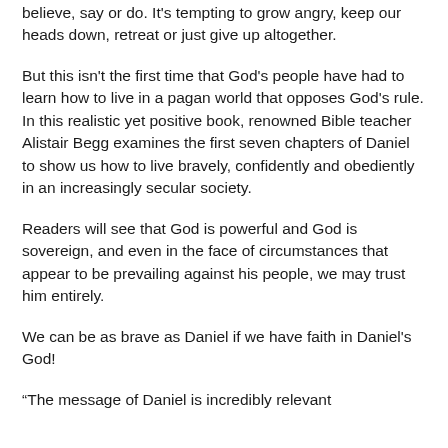believe, say or do. It's tempting to grow angry, keep our heads down, retreat or just give up altogether.
But this isn't the first time that God's people have had to learn how to live in a pagan world that opposes God's rule. In this realistic yet positive book, renowned Bible teacher Alistair Begg examines the first seven chapters of Daniel to show us how to live bravely, confidently and obediently in an increasingly secular society.
Readers will see that God is powerful and God is sovereign, and even in the face of circumstances that appear to be prevailing against his people, we may trust him entirely.
We can be as brave as Daniel if we have faith in Daniel's God!
“The message of Daniel is incredibly relevant